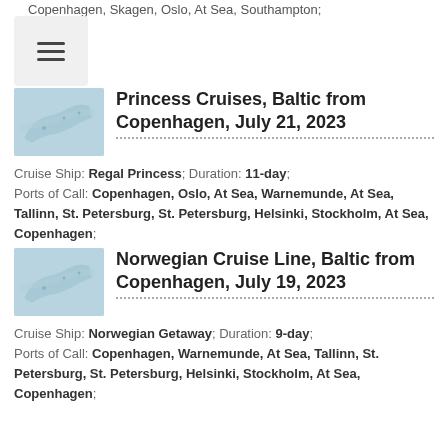Copenhagen, Skagen, Oslo, At Sea, Southampton;
[Figure (other): Menu/hamburger icon button]
[Figure (map): Small map thumbnail of Baltic region]
Princess Cruises, Baltic from Copenhagen, July 21, 2023
Cruise Ship: Regal Princess; Duration: 11-day; Ports of Call: Copenhagen, Oslo, At Sea, Warnemunde, At Sea, Tallinn, St. Petersburg, St. Petersburg, Helsinki, Stockholm, At Sea, Copenhagen;
[Figure (map): Small map thumbnail of Baltic region]
Norwegian Cruise Line, Baltic from Copenhagen, July 19, 2023
Cruise Ship: Norwegian Getaway; Duration: 9-day; Ports of Call: Copenhagen, Warnemunde, At Sea, Tallinn, St. Petersburg, St. Petersburg, Helsinki, Stockholm, At Sea, Copenhagen;